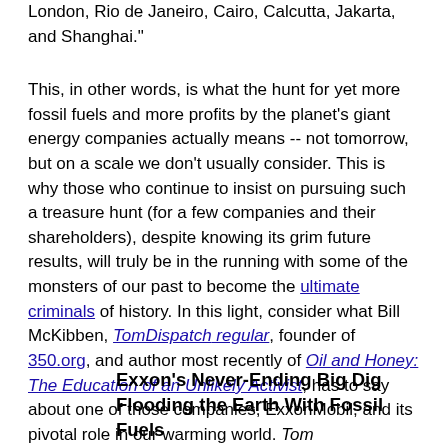London, Rio de Janeiro, Cairo, Calcutta, Jakarta, and Shanghai."
This, in other words, is what the hunt for yet more fossil fuels and more profits by the planet's giant energy companies actually means -- not tomorrow, but on a scale we don't usually consider. This is why those who continue to insist on pursuing such a treasure hunt (for a few companies and their shareholders), despite knowing its grim future results, will truly be in the running with some of the monsters of our past to become the ultimate criminals of history. In this light, consider what Bill McKibben, TomDispatch regular, founder of 350.org, and author most recently of Oil and Honey: The Education of an Unlikely Activist, has to say about one of those companies, ExxonMobil, and its pivotal role in our warming world. Tom
Exxon's Never-Ending Big Dig Flooding the Earth With Fossil Fuels
By Bill McKibben